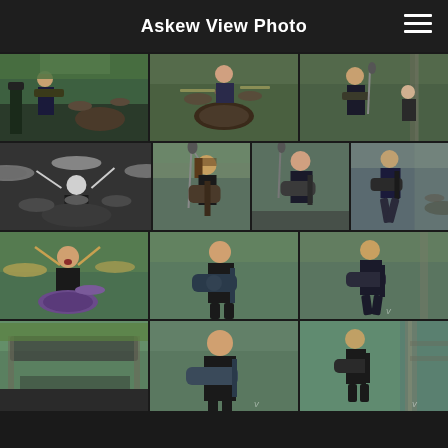Askew View Photo
[Figure (photo): Concert photo grid showing musicians performing on outdoor stage. Row 1: guitarist on stage with greenery background, drummer at drum kit, bald guitarist performing. Row 2: black and white drummer photo, guitarist at microphone, guitarist with bass, musician playing guitar. Row 3: drummer playing energetically, bald guitarist with electric guitar, guitarist performing. Row 4 (partial): outdoor stage wide shot, bald singer performing, guitarist on stage.]